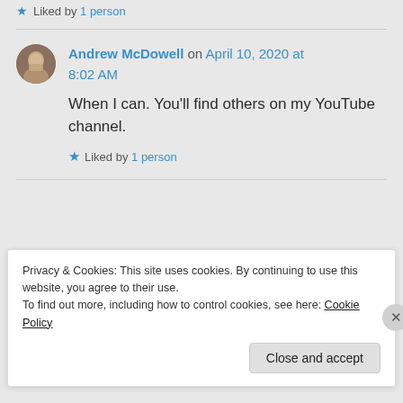Liked by 1 person
Andrew McDowell on April 10, 2020 at 8:02 AM
When I can. You'll find others on my YouTube channel.
Liked by 1 person
Privacy & Cookies: This site uses cookies. By continuing to use this website, you agree to their use. To find out more, including how to control cookies, see here: Cookie Policy
Close and accept